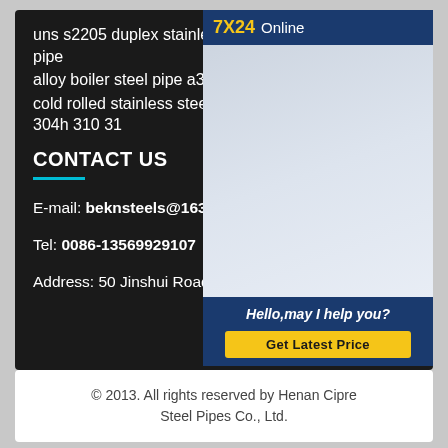uns s2205 duplex stainless steel round pipe
alloy boiler steel pipe a335 p1 price
cold rolled stainless steel welded 304l 304h 310 31
CONTACT US
E-mail: beknsteels@163.com
Tel: 0086-13569929107
Address: 50 Jinshui Road, Henan, China
[Figure (photo): Customer service representative wearing a headset, smiling, with 7X24 Online chat widget overlay showing 'Hello, may I help you?' and a 'Get Latest Price' button]
© 2013. All rights reserved by Henan Cipre Steel Pipes Co., Ltd.